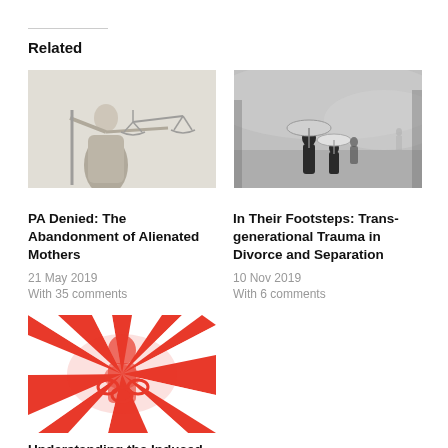Related
[Figure (photo): Statue of Lady Justice holding scales, black and white / sepia image]
PA Denied: The Abandonment of Alienated Mothers
21 May 2019
With 35 comments
[Figure (photo): Black and white photo of adult and two children walking with umbrellas in foggy setting]
In Their Footsteps: Transgenerational Trauma in Divorce and Separation
10 Nov 2019
With 6 comments
[Figure (illustration): Red and white swirling psychedelic illustration with figure and chain motif]
Understanding the Induced